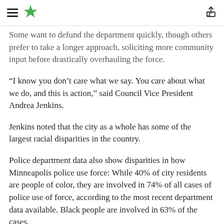[hamburger menu] [star logo] [share icon]
Some want to defund the department quickly, though others prefer to take a longer approach, soliciting more community input before drastically overhauling the force.
“I know you don’t care what we say. You care about what we do, and this is action,” said Council Vice President Andrea Jenkins.
Jenkins noted that the city as a whole has some of the largest racial disparities in the country.
Police department data also show disparities in how Minneapolis police use force: While 40% of city residents are people of color, they are involved in 74% of all cases of police use of force, according to the most recent department data available. Black people are involved in 63% of the cases.
The human rights probe came as Democratic state lawmakers rolled out policing reforms that they said should be a centerpiece of the special legislative session expected this month, a push that